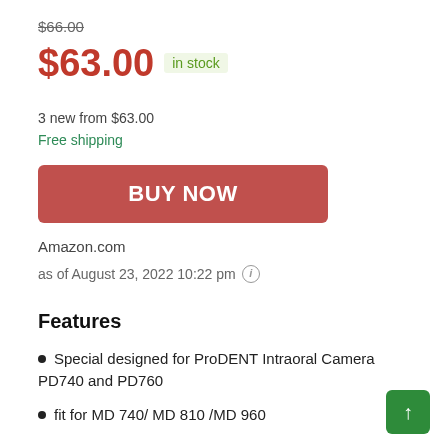$66.00
$63.00 in stock
3 new from $63.00
Free shipping
BUY NOW
Amazon.com
as of August 23, 2022 10:22 pm ⓘ
Features
Special designed for ProDENT Intraoral Camera PD740 and PD760
fit for MD 740/ MD 810 /MD 960